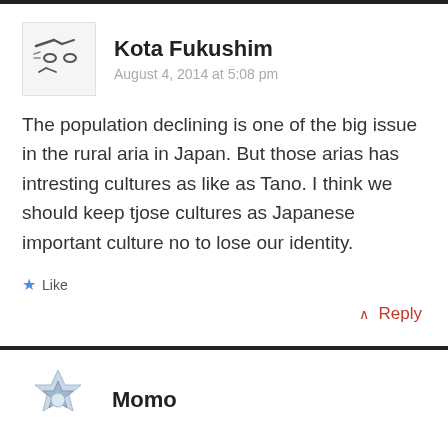Kota Fukushim
August 4, 2014 at 5:08 pm
The population declining is one of the big issue in the rural aria in Japan. But those arias has intresting cultures as like as Tano. I think we should keep tjose cultures as Japanese important culture no to lose our identity.
Like
↑ Reply
Momo